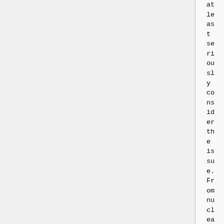at least seriously consider the issue. From nuclear apocolyptics, to Playboy magazine, to Good Housekeeping, to almost every national and local newspaper, the discussion turned to whether or not to built fallout shelters. The common knowledge that people could be instantly incinerated wherever they might be caused collective psychological angst nearly unparalleled in the annals of history, and even children were not spared from such bleak pessimism. In fact, a daily struggle for parents, as Kenneth Rose put it, was whether “to supply a ray of hope that the child might survive a nuclear emergency, or honestly